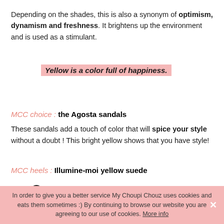Depending on the shades, this is also a synonym of optimism, dynamism and freshness. It brightens up the environment and is used as a stimulant.
Yellow is a color full of happiness.
MCC choice : the Agosta sandals
These sandals add a touch of color that will spice your style without a doubt ! This bright yellow shows that you have style!
MCC heels : Illumine-moi yellow suede
You w[0]ot be unnoticed with these yellow heels. With the
In order to give you a better service My Choupi Chouz uses cookies and eats them sometimes :) By continuing to browse our website you are agreeing to our use of cookies. More info